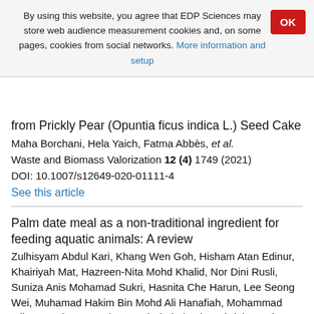By using this website, you agree that EDP Sciences may store web audience measurement cookies and, on some pages, cookies from social networks. More information and setup
OK
from Prickly Pear (Opuntia ficus indica L.) Seed Cake
Maha Borchani, Hela Yaich, Fatma Abbès, et al.
Waste and Biomass Valorization 12 (4) 1749 (2021)
DOI: 10.1007/s12649-020-01111-4
See this article
Palm date meal as a non-traditional ingredient for feeding aquatic animals: A review
Zulhisyam Abdul Kari, Khang Wen Goh, Hisham Atan Edinur, Khairiyah Mat, Hazreen-Nita Mohd Khalid, Nor Dini Rusli, Suniza Anis Mohamad Sukri, Hasnita Che Harun, Lee Seong Wei, Muhamad Hakim Bin Mohd Ali Hanafiah, Mohammad Mijanur Rahman, Mohammad Khairul Azhar Abdul Razab, Wendy Wee, Nik Shahman Nik Ahmad Ariff and Mahmoud